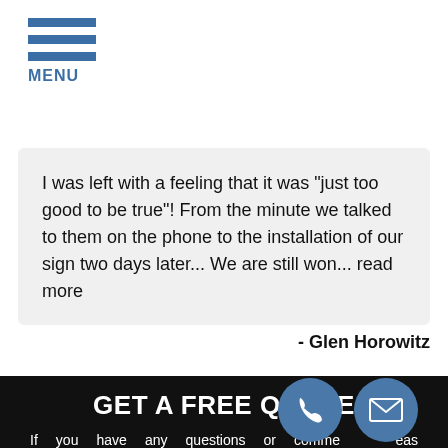MENU
I was left with a feeling that it was "just too good to be true"! From the minute we talked to them on the phone to the installation of our sign two days later... We are still won... read more
- Glen Horowitz
GET A FREE QUOTE
If you have any questions or comments please fill out the following form and one of our